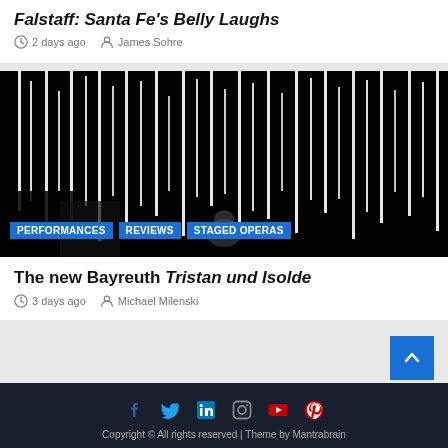Falstaff: Santa Fe's Belly Laughs
2 days ago   James Sohre
[Figure (photo): Dark theatrical stage image with white vertical lines/streaks on black background, person visible in center lower area. Tags: PERFORMANCES, REVIEWS, STAGED OPERAS]
The new Bayreuth Tristan und Isolde
3 days ago   Michael Milenski
Copyright © All rights reserved | Theme by Mantrabrain